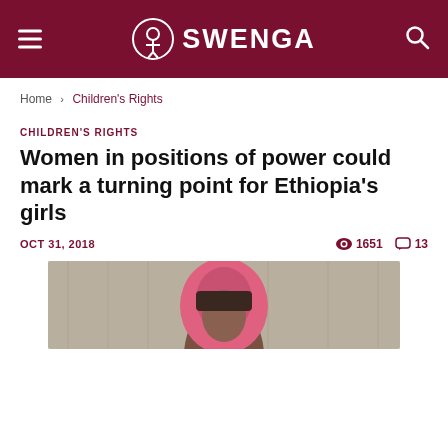SWENGA
Home › Children's Rights
CHILDREN'S RIGHTS
Women in positions of power could mark a turning point for Ethiopia's girls
OCT 31, 2018   👁 1651   💬 13
[Figure (photo): A young Ethiopian girl wearing a pink headscarf, photographed against a wooden background]